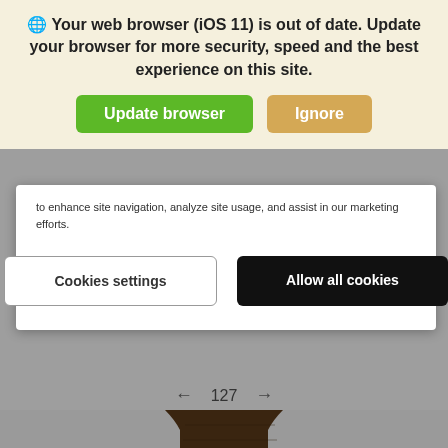Your web browser (iOS 11) is out of date. Update your browser for more security, speed and the best experience on this site.
Update browser | Ignore
to enhance site navigation, analyze site usage, and assist in our marketing efforts.
Cookies settings | Allow all cookies
← 127 →
[Figure (photo): Partial view of a wristwatch with a brown leather strap and gold case, photographed from above against a gray background.]